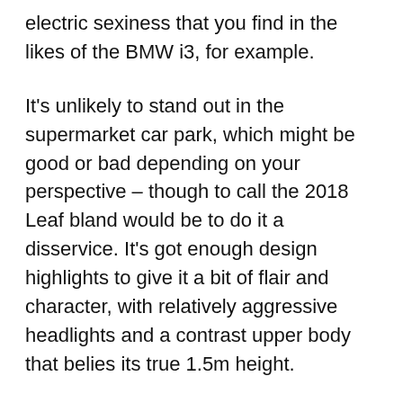electric sexiness that you find in the likes of the BMW i3, for example.
It's unlikely to stand out in the supermarket car park, which might be good or bad depending on your perspective – though to call the 2018 Leaf bland would be to do it a disservice. It's got enough design highlights to give it a bit of flair and character, with relatively aggressive headlights and a contrast upper body that belies its true 1.5m height.
From some angles the proportions do look a bit off, mind, with a slight boxy Prius look to the side but a